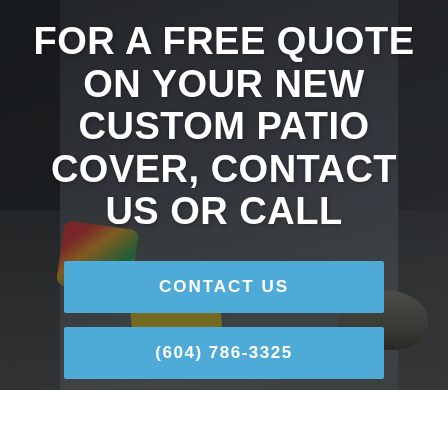[Figure (photo): Outdoor patio scene with dark furniture, colorful cushions, and a fire bowl, used as background image with dark overlay]
FOR A FREE QUOTE ON YOUR NEW CUSTOM PATIO COVER, CONTACT US OR CALL
CONTACT US
(604) 786-3325